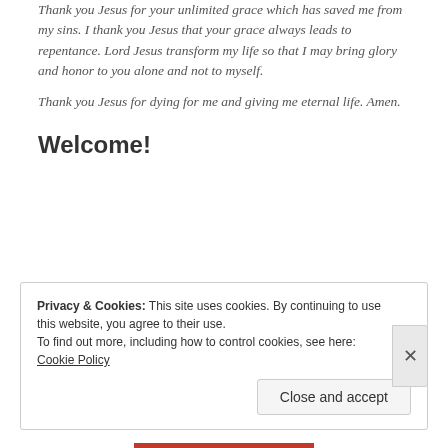Thank you Jesus for your unlimited grace which has saved me from my sins. I thank you Jesus that your grace always leads to repentance. Lord Jesus transform my life so that I may bring glory and honor to you alone and not to myself.
Thank you Jesus for dying for me and giving me eternal life. Amen.
Welcome!
Privacy & Cookies: This site uses cookies. By continuing to use this website, you agree to their use.
To find out more, including how to control cookies, see here: Cookie Policy
Close and accept